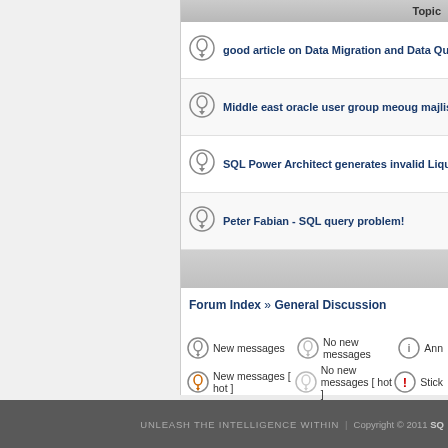Topic
good article on Data Migration and Data Quality
Middle east oracle user group meoug majlis 2016 annual confer...
SQL Power Architect generates invalid Liquibase modifyColum...
Peter Fabian - SQL query problem!
Forum Index » General Discussion
New messages | No new messages | Anno...
New messages [ hot ] | No new messages [ hot ] | Stick...
New messages [ blocked ] | No new messages [ blocked ] | Move...
UNLEASH THE INTELLIGENCE WITHIN | Copyright © 2011 SQ...